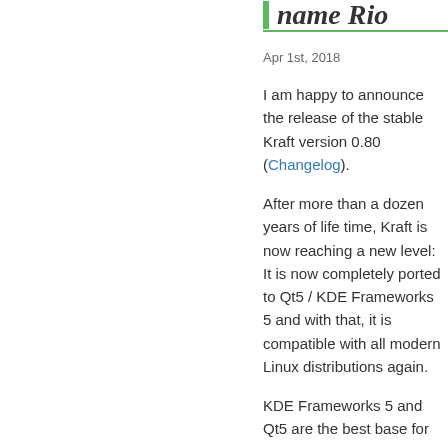name Rio
Apr 1st, 2018
I am happy to announce the release of the stable Kraft version 0.80 (Changelog).
After more than a dozen years of life time, Kraft is now reaching a new level: It is now completely ported to Qt5 / KDE Frameworks 5 and with that, it is compatible with all modern Linux distributions again.
KDE Frameworks 5 and Qt5 are the best base for